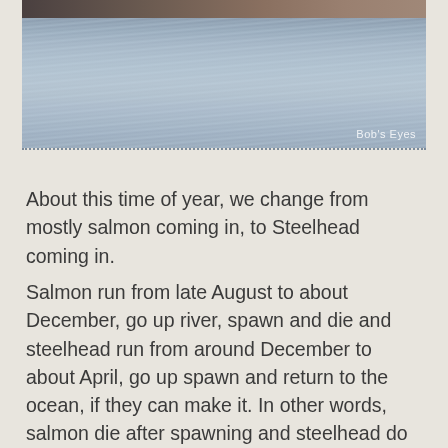[Figure (photo): A river or lake water scene with rippling blue-grey water surface, rocky shoreline visible at top. Watermark 'Bob's Eyes' in lower right corner.]
About this time of year, we change from mostly salmon coming in, to Steelhead coming in.
Salmon run from late August to about December, go up river, spawn and die and steelhead run from around December to about April, go up spawn and return to the ocean, if they can make it. In other words, salmon die after spawning and steelhead do not die after spawning, but return to the ocean, if they can.